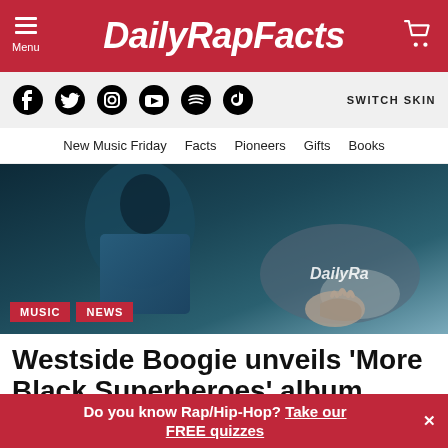DailyRapFacts
[Figure (screenshot): Website navigation bar with social media icons (Facebook, Twitter, Instagram, YouTube, Spotify, TikTok) and SWITCH SKIN text]
New Music Friday  Facts  Pioneers  Gifts  Books
[Figure (photo): Dark toned photo of a person in a blue vest with hand extended, DailyRap watermark visible. Tags: MUSIC, NEWS]
Westside Boogie unveils ‘More Black Superheroes’ album cover & tracklist
Do you know Rap/Hip-Hop? Take our FREE quizzes